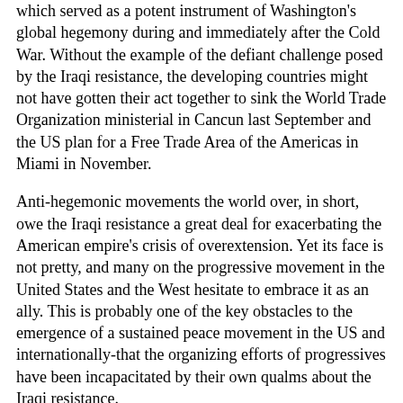which served as a potent instrument of Washington's global hegemony during and immediately after the Cold War. Without the example of the defiant challenge posed by the Iraqi resistance, the developing countries might not have gotten their act together to sink the World Trade Organization ministerial in Cancun last September and the US plan for a Free Trade Area of the Americas in Miami in November.
Anti-hegemonic movements the world over, in short, owe the Iraqi resistance a great deal for exacerbating the American empire's crisis of overextension. Yet its face is not pretty, and many on the progressive movement in the United States and the West hesitate to embrace it as an ally. This is probably one of the key obstacles to the emergence of a sustained peace movement in the US and internationally-that the organizing efforts of progressives have been incapacitated by their own qualms about the Iraqi resistance.
But there has never been any pretty movement for national liberation or independence. Many Western progressives were also repelled by some of the methods of the Mau Mau in Kenya, the FLN in Algeria, the NLF in Vietnam, and the Irish Republican Movement. National liberation movements, however, are not asking for ideological or political support. All they seek is international pressure for the withdrawal of an illegitimate occupying power so that internal forces can have the space to forge